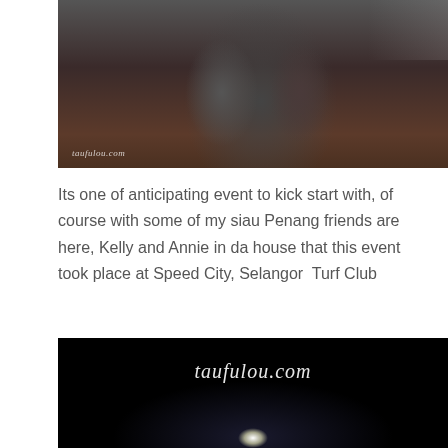[Figure (photo): Two people holding items at a night event, with metal barriers/fence visible in background. Watermark 'taufulou.com' in lower left.]
Its one of anticipating event to kick start with, of course with some of my siau Penang friends are here, Kelly and Annie in da house that this event took place at Speed City, Selangor Turf Club
[Figure (photo): Dark/night photo with 'taufulou.com' watermark text in white italic script at top center, bright light source visible at bottom center.]